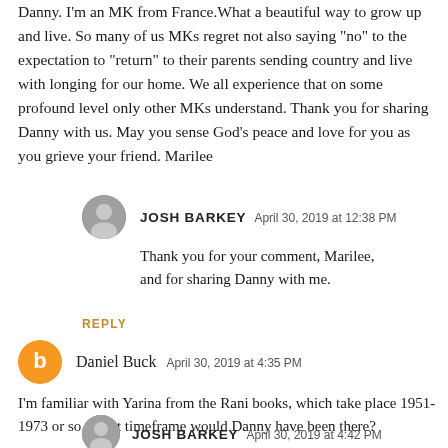Danny. I'm an MK from France.What a beautiful way to grow up and live. So many of us MKs regret not also saying "no" to the expectation to "return" to their parents sending country and live with longing for our home. We all experience that on some profound level only other MKs understand. Thank you for sharing Danny with us. May you sense God's peace and love for you as you grieve your friend. Marilee
JOSH BARKEY  April 30, 2019 at 12:38 PM
Thank you for your comment, Marilee, and for sharing Danny with me.
REPLY
Daniel Buck  April 30, 2019 at 4:35 PM
I'm familiar with Yarina from the Rani books, which take place 1951-1973 or so. What timeframe would Danny have been there?
JOSH BARKEY  April 30, 2019 at 4:42 PM